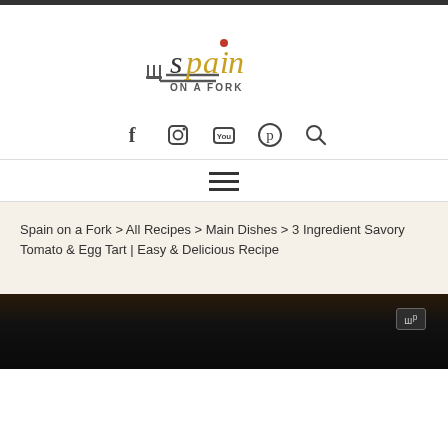[Figure (logo): Spain on a Fork logo with fork graphic and text]
[Figure (infographic): Social media icons: Facebook, Instagram, YouTube, Pinterest, Search]
[Figure (infographic): Hamburger menu icon (three horizontal lines)]
Spain on a Fork > All Recipes > Main Dishes > 3 Ingredient Savory Tomato & Egg Tart | Easy & Delicious Recipe
[Figure (photo): Partial photo of food dish, dark background, with small WP badge]